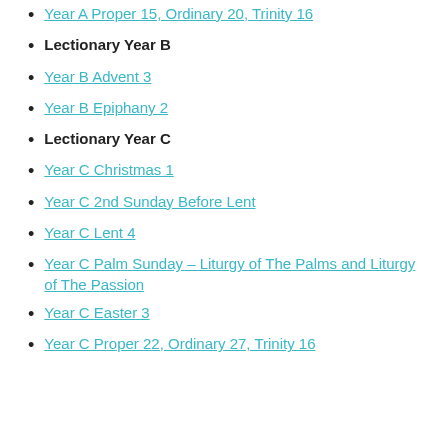Year A Proper 15, Ordinary 20, Trinity 16
Lectionary Year B
Year B Advent 3
Year B Epiphany 2
Lectionary Year C
Year C Christmas 1
Year C 2nd Sunday Before Lent
Year C Lent 4
Year C Palm Sunday – Liturgy of The Palms and Liturgy of The Passion
Year C Easter 3
Year C Proper 22, Ordinary 27, Trinity 16